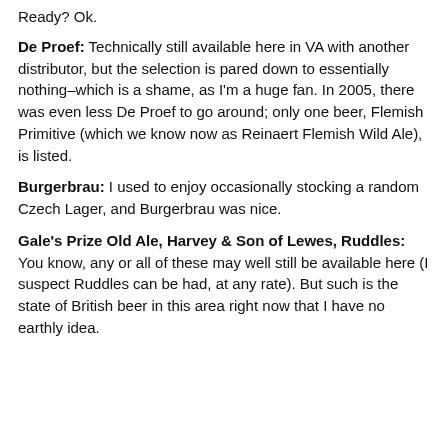Ready? Ok.
De Proef: Technically still available here in VA with another distributor, but the selection is pared down to essentially nothing–which is a shame, as I'm a huge fan. In 2005, there was even less De Proef to go around; only one beer, Flemish Primitive (which we know now as Reinaert Flemish Wild Ale), is listed.
Burgerbrau: I used to enjoy occasionally stocking a random Czech Lager, and Burgerbrau was nice.
Gale's Prize Old Ale, Harvey & Son of Lewes, Ruddles: You know, any or all of these may well still be available here (I suspect Ruddles can be had, at any rate). But such is the state of British beer in this area right now that I have no earthly idea.